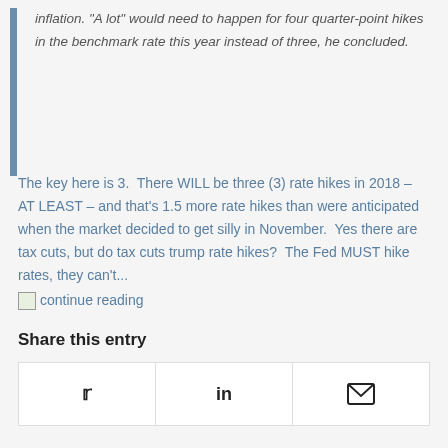inflation. "A lot" would need to happen for four quarter-point hikes in the benchmark rate this year instead of three, he concluded.
The key here is 3.  There WILL be three (3) rate hikes in 2018 – AT LEAST – and that's 1.5 more rate hikes than were anticipated when the market decided to get silly in November.  Yes there are tax cuts, but do tax cuts trump rate hikes?  The Fed MUST hike rates, they can't... continue reading
Share this entry
[Figure (infographic): Three social sharing buttons side by side: Twitter (bird icon), LinkedIn (in icon), and email (envelope icon)]